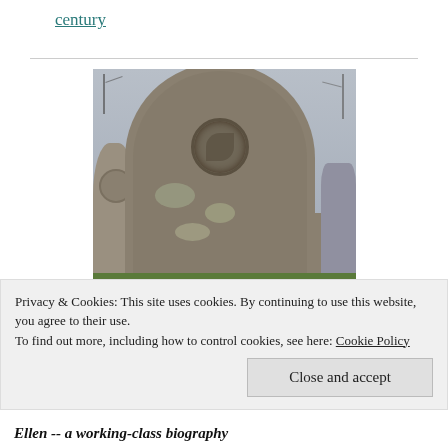century
[Figure (photo): A weathered stone gravestone with an arched top and a circular carved medallion near the top, in a cemetery setting with bare trees and grass in the background. Other gravestones are partially visible on either side.]
Privacy & Cookies: This site uses cookies. By continuing to use this website, you agree to their use.
To find out more, including how to control cookies, see here: Cookie Policy
Close and accept
Ellen -- a working-class biography